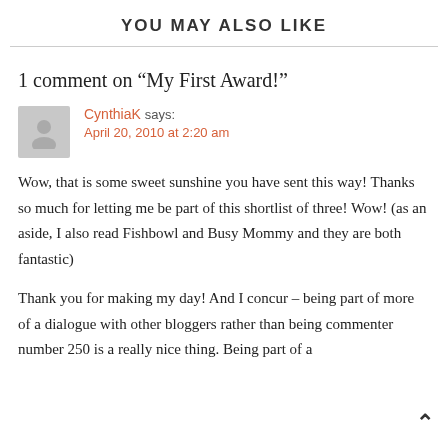YOU MAY ALSO LIKE
1 comment on “My First Award!”
CynthiaK says:
April 20, 2010 at 2:20 am
Wow, that is some sweet sunshine you have sent this way! Thanks so much for letting me be part of this shortlist of three! Wow! (as an aside, I also read Fishbowl and Busy Mommy and they are both fantastic)
Thank you for making my day! And I concur – being part of more of a dialogue with other bloggers rather than being commenter number 250 is a really nice thing. Being part of a